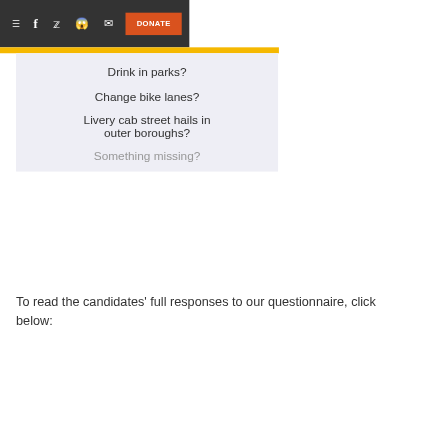≡  f  🐦  👾  ✉  DONATE
Drink in parks?
Change bike lanes?
Livery cab street hails in outer boroughs?
Something missing?
To read the candidates' full responses to our questionnaire, click below: